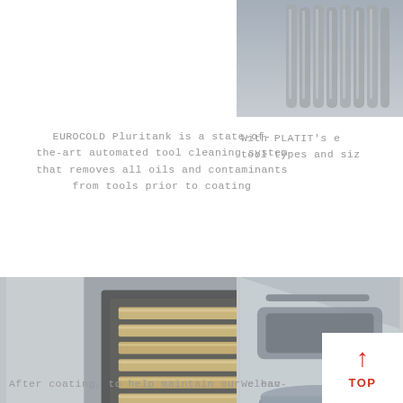[Figure (photo): Close-up photo of metallic cylindrical tools or drill bits arranged in a circular/fan pattern, cropped at top right corner]
EUROCOLD Pluritank is a state-of-the-art automated tool cleaning system that removes all oils and contaminants from tools prior to coating
With PLATIT's e tool types and siz
[Figure (photo): An open industrial cleaning chamber (EUROCOLD Pluritank) with tools arranged on a rotating carousel inside, cabinet-style machine with open door]
[Figure (photo): Close-up of industrial equipment components, partially visible at right side of page]
After coating, to help maintain our clean-
We hav